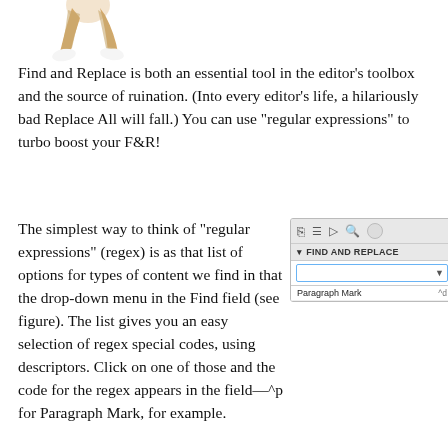[Figure (illustration): Partial view of a cartoon/3D character figure (legs visible), white background, top-left of page]
Find and Replace is both an essential tool in the editor’s toolbox and the source of ruination. (Into every editor’s life, a hilariously bad Replace All will fall.) You can use “regular expressions” to turbo boost your F&R!
The simplest way to think of “regular expressions” (regex) is as that list of options for types of content we find in that the drop-down menu in the Find field (see figure). The list gives you an easy selection of regex special codes, using descriptors. Click on one of those and the code for the regex appears in the field—^p for Paragraph Mark, for example.
[Figure (screenshot): Screenshot of a Find and Replace panel in a word processor, showing toolbar icons, FIND AND REPLACE label, a text input field with dropdown arrow, and a Paragraph Mark option listed below.]